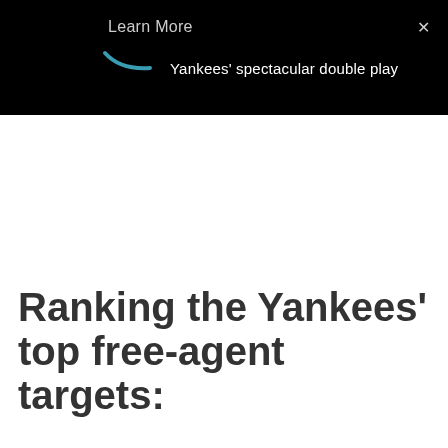Learn More   Yankees' spectacular double play   ×
Ranking the Yankees' top free-agent targets: